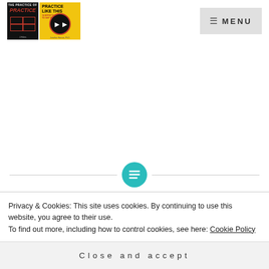[Figure (logo): Two book covers: 'The Practice of Practice' (dark cover) and 'Practice Like This' (yellow cover with red play button). Logo/header image.]
MENU
[Figure (illustration): Horizontal divider line with a teal/cyan circle icon in the center containing a text/lines symbol.]
Motivation to Practice: Go With
Privacy & Cookies: This site uses cookies. By continuing to use this website, you agree to their use.
To find out more, including how to control cookies, see here: Cookie Policy
Close and accept